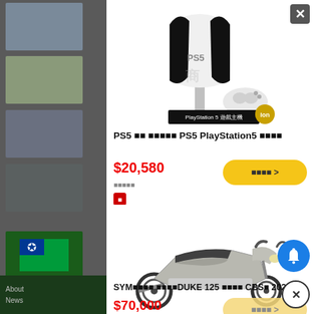[Figure (screenshot): Website modal popup showing product listings. Top product: PS5 PlayStation5 gaming console with image, price $20,580, and yellow buy button. Bottom product: SYM DUKE 125 scooter CBS 2022 with image, price $70,000, and buy button. Background shows news website with thumbnail images on the left, dark green footer, and bell notification and close buttons on right.]
PS5 ■■ ■■■■■ PS5 PlayStation5 ■■■■
$20,580
■■■■ >
■■■■■
SYM■■■■ ■■■■DUKE 125 ■■■■ CBS■ 2022■■
$70,000
■■■■ >
About   News
PlayStation 5 遊戲主機